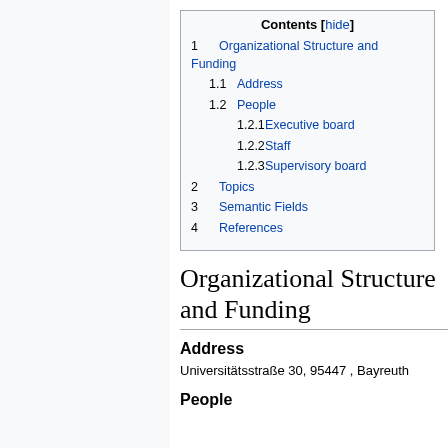| Contents |
| --- |
| 1 Organizational Structure and Funding |
| 1.1 Address |
| 1.2 People |
| 1.2.1 Executive board |
| 1.2.2 Staff |
| 1.2.3 Supervisory board |
| 2 Topics |
| 3 Semantic Fields |
| 4 References |
Organizational Structure and Funding
Address
Universitätsstraße 30, 95447 , Bayreuth
People